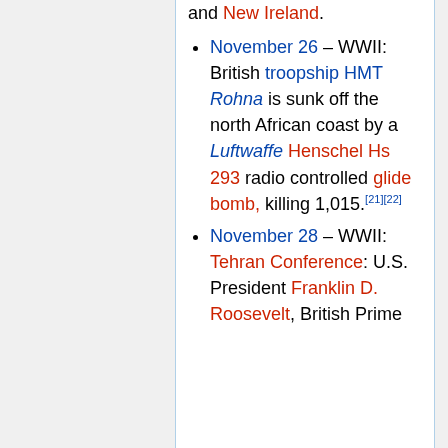and New Ireland.
November 26 – WWII: British troopship HMT Rohna is sunk off the north African coast by a Luftwaffe Henschel Hs 293 radio controlled glide bomb, killing 1,015.[21][22]
November 28 – WWII: Tehran Conference: U.S. President Franklin D. Roosevelt, British Prime